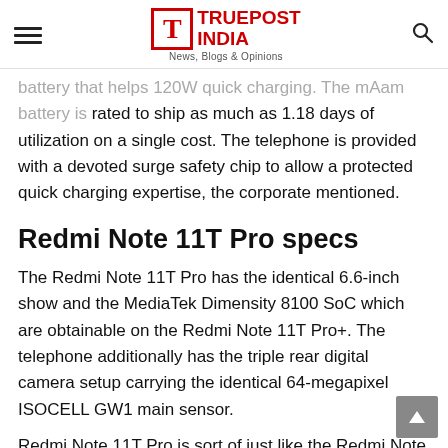TRUEPOST INDIA — News, Blogs & Opinions
battery that helps 120W quick charging. The mAam battery is rated to ship as much as 1.18 days of utilization on a single cost. The telephone is provided with a devoted surge safety chip to allow a protected quick charging expertise, the corporate mentioned.
Redmi Note 11T Pro specs
The Redmi Note 11T Pro has the identical 6.6-inch show and the MediaTek Dimensity 8100 SoC which are obtainable on the Redmi Note 11T Pro+. The telephone additionally has the triple rear digital camera setup carrying the identical 64-megapixel ISOCELL GW1 main sensor.
Redmi Note 11T Pro is sort of just like the Redmi Note 11T…